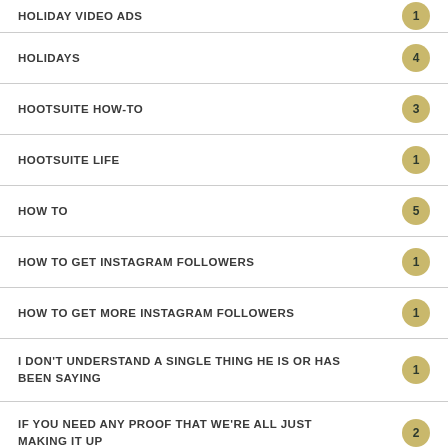HOLIDAY VIDEO ADS
HOLIDAYS
HOOTSUITE HOW-TO
HOOTSUITE LIFE
HOW TO
HOW TO GET INSTAGRAM FOLLOWERS
HOW TO GET MORE INSTAGRAM FOLLOWERS
I DON'T UNDERSTAND A SINGLE THING HE IS OR HAS BEEN SAYING
IF YOU NEED ANY PROOF THAT WE'RE ALL JUST MAKING IT UP